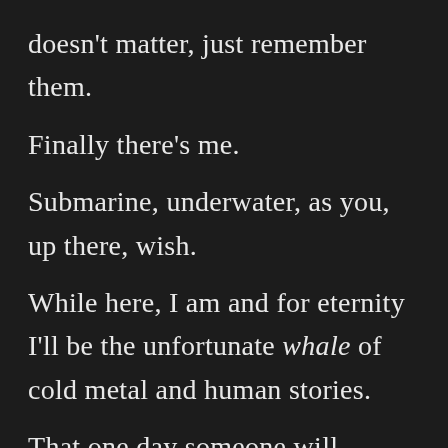doesn't matter, just remember them.

Finally there's me.

Submarine, underwater, as you, up there, wish.

While here, I am and for eternity I'll be the unfortunate whale of cold metal and human stories.

That one day someone will listen...